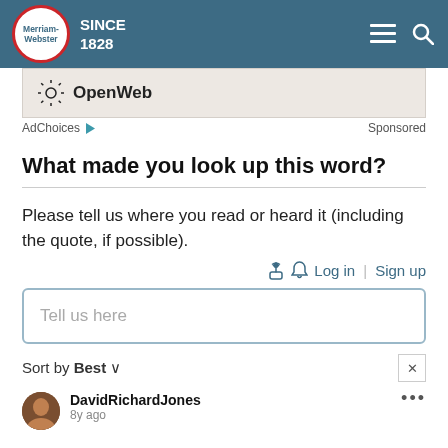[Figure (logo): Merriam-Webster logo with navigation header: teal bar with circular red-bordered logo, 'SINCE 1828' text, hamburger menu and search icons]
[Figure (screenshot): OpenWeb advertisement banner with OpenWeb logo on beige background]
AdChoices ▷   Sponsored
What made you look up this word?
Please tell us where you read or heard it (including the quote, if possible).
🔔  Log in | Sign up
Tell us here
Sort by Best ∨
DavidRichardJones
8y ago